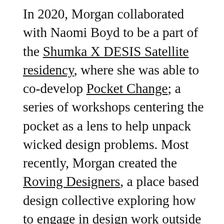In 2020, Morgan collaborated with Naomi Boyd to be a part of the Shumka X DESIS Satellite residency, where she was able to co-develop Pocket Change; a series of workshops centering the pocket as a lens to help unpack wicked design problems. Most recently, Morgan created the Roving Designers, a place based design collective exploring how to engage in design work outside of traditional studio contexts. This year, Morgan has acted as the Undergraduate Coordinator for DESIS, helping to communicate the values and goals of the lab and invite other students to become involved in its work.